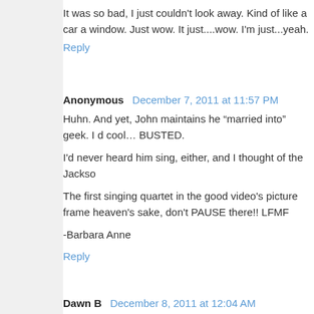It was so bad, I just couldn't look away. Kind of like a car a window. Just wow. It just....wow. I'm just...yeah.
Reply
Anonymous  December 7, 2011 at 11:57 PM
Huhn. And yet, John maintains he “married into” geek. I d cool… BUSTED.

I'd never heard him sing, either, and I thought of the Jackso

The first singing quartet in the good video's picture frame heaven's sake, don't PAUSE there!! LFMF

-Barbara Anne
Reply
Dawn B  December 8, 2011 at 12:04 AM
The first video was great. The Bieber one, well...I kept ha Dyke's pants in the scene in "Mary Poppins" where he da Bang Bang". I'm so confused! I also *hate* hearing Christm
Reply
Mellie  December 8, 2011 at 3:00 AM